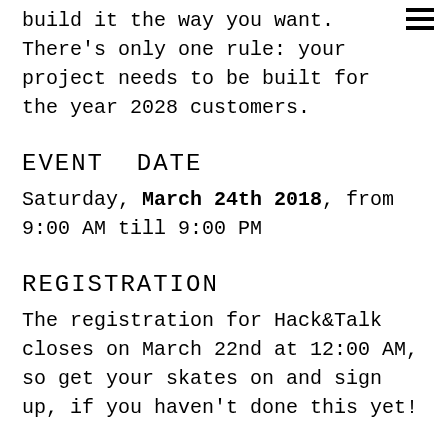build it the way you want. There's only one rule: your project needs to be built for the year 2028 customers.
EVENT DATE
Saturday, March 24th 2018, from 9:00 AM till 9:00 PM
REGISTRATION
The registration for Hack&Talk closes on March 22nd at 12:00 AM, so get your skates on and sign up, if you haven't done this yet!
HOST